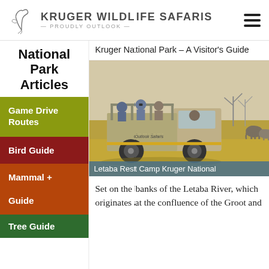KRUGER WILDLIFE SAFARIS — PROUDLY OUTLOOK —
National Park Articles
Kruger National Park – A Visitor's Guide
[Figure (photo): Safari game drive vehicle with tourists and elephants in background at Kruger National Park]
Letaba Rest Camp Kruger National
Set on the banks of the Letaba River, which originates at the confluence of the Groot and